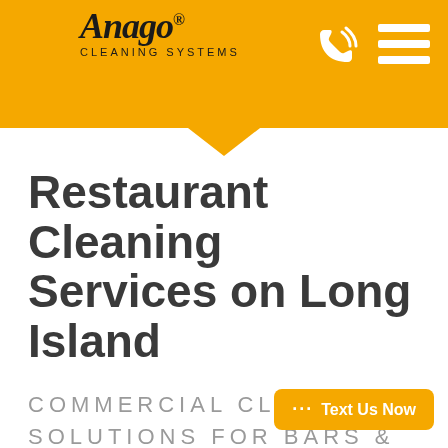[Figure (logo): Anago Cleaning Systems logo with orange diamond background and navigation icons]
Restaurant Cleaning Services on Long Island
COMMERCIAL CLEANING SOLUTIONS FOR BARS & LOUNGES
There may be no more important place to maintain a clean environment than one where food is served